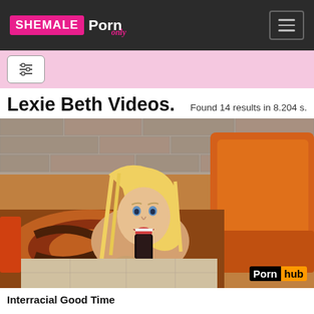Shemale Porn Only
[Figure (screenshot): Filter/search controls bar with pink background and a filter icon button]
Lexie Beth Videos.
Found 14 results in 8.204 s.
[Figure (photo): Video thumbnail showing a blonde woman near an orange couch with a Pornhub watermark in the bottom right corner]
Interracial Good Time